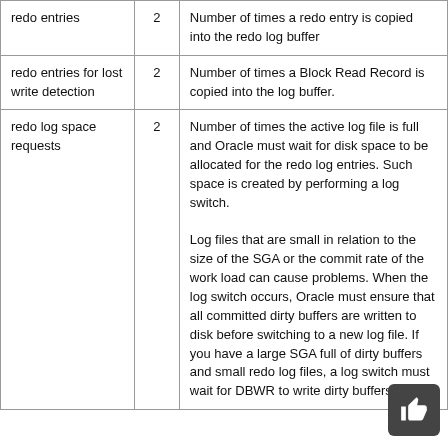|  |  |  |
| --- | --- | --- |
| redo entries | 2 | Number of times a redo entry is copied into the redo log buffer |
| redo entries for lost write detection | 2 | Number of times a Block Read Record is copied into the log buffer. |
| redo log space requests | 2 | Number of times the active log file is full and Oracle must wait for disk space to be allocated for the redo log entries. Such space is created by performing a log switch.

Log files that are small in relation to the size of the SGA or the commit rate of the work load can cause problems. When the log switch occurs, Oracle must ensure that all committed dirty buffers are written to disk before switching to a new log file. If you have a large SGA full of dirty buffers and small redo log files, a log switch must wait for DBWR to write dirty buffers... |